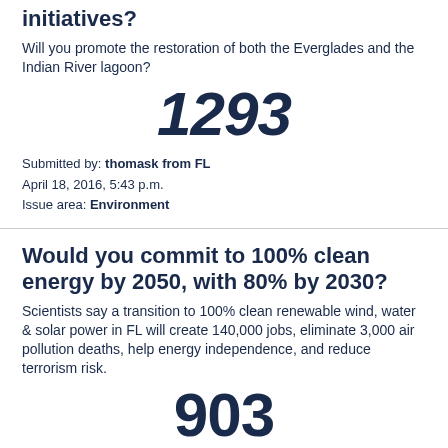initiatives?
Will you promote the restoration of both the Everglades and the Indian River lagoon?
1293
Submitted by: thomask from FL
April 18, 2016, 5:43 p.m.
Issue area: Environment
Would you commit to 100% clean energy by 2050, with 80% by 2030?
Scientists say a transition to 100% clean renewable wind, water & solar power in FL will create 140,000 jobs, eliminate 3,000 air pollution deaths, help energy independence, and reduce terrorism risk.
903
Submitted by: MarkRuffalo from NY
April 24, 2016, 3:06 p.m.